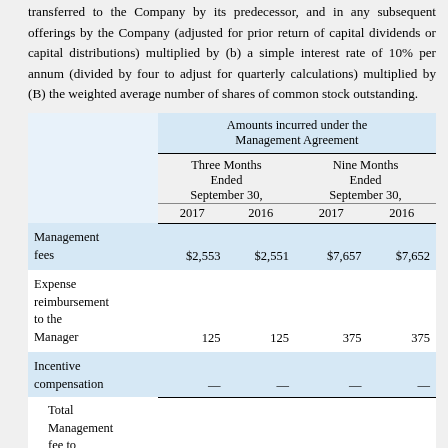transferred to the Company by its predecessor, and in any subsequent offerings by the Company (adjusted for prior return of capital dividends or capital distributions) multiplied by (b) a simple interest rate of 10% per annum (divided by four to adjust for quarterly calculations) multiplied by (B) the weighted average number of shares of common stock outstanding.
|  | Three Months Ended September 30, 2017 | Three Months Ended September 30, 2016 | Nine Months Ended September 30, 2017 | Nine Months Ended September 30, 2016 |
| --- | --- | --- | --- | --- |
| Management fees | $2,553 | $2,551 | $7,657 | $7,652 |
| Expense reimbursement to the Manager | 125 | 125 | 375 | 375 |
| Incentive compensation | — | — | — | — |
| Total Management fee to |  |  |  |  |